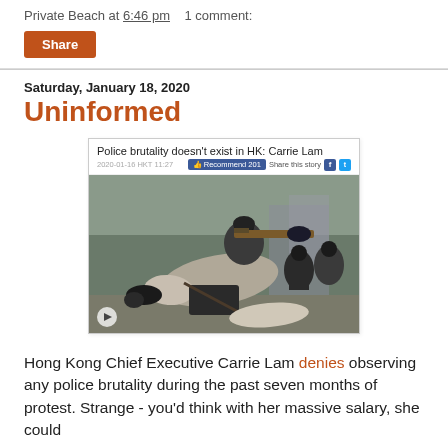Private Beach at 6:46 pm   1 comment:
Share
Saturday, January 18, 2020
Uninformed
[Figure (screenshot): Screenshot of a news article titled 'Police brutality doesn't exist in HK: Carrie Lam' with a photo of police in riot gear aiming weapons, and a caption bar at bottom reading 'Police brutality doesn't exist in HK: Carrie Lam']
Hong Kong Chief Executive Carrie Lam denies observing any police brutality during the past seven months of protest. Strange - you'd think with her massive salary, she could